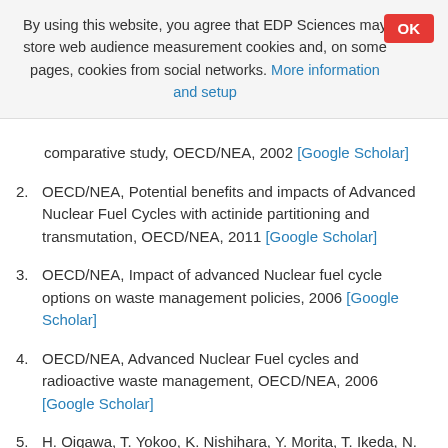By using this website, you agree that EDP Sciences may store web audience measurement cookies and, on some pages, cookies from social networks. More information and setup
comparative study, OECD/NEA, 2002 [Google Scholar]
2. OECD/NEA, Potential benefits and impacts of Advanced Nuclear Fuel Cycles with actinide partitioning and transmutation, OECD/NEA, 2011 [Google Scholar]
3. OECD/NEA, Impact of advanced Nuclear fuel cycle options on waste management policies, 2006 [Google Scholar]
4. OECD/NEA, Advanced Nuclear Fuel cycles and radioactive waste management, OECD/NEA, 2006 [Google Scholar]
5. H. Oigawa, T. Yokoo, K. Nishihara, Y. Morita, T. Ikeda, N. Takai, Parametric survey for benefit of partitioning and transmutation technology in terms of high-level